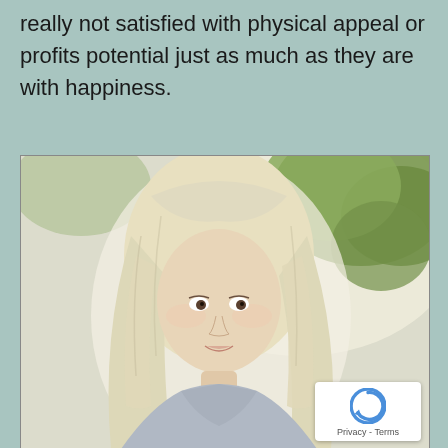really not satisfied with physical appeal or profits potential just as much as they are with happiness.
[Figure (photo): A young blonde woman with long straight hair, wearing a light blue/grey shirt, photographed outdoors with green trees in the background. A reCAPTCHA privacy badge is overlaid in the bottom-right corner.]